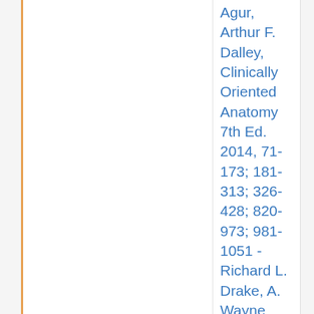Agur, Arthur F. Dalley, Clinically Oriented Anatomy 7th Ed. 2014, 71-173; 181-313; 326-428; 820-973; 981-1051 -Richard L. Drake, A. Wayne Vogl, Adam W. M. Mitchell, Gray's Anatomy for Students: With STUDENT CONSULT Online Access, 3rd Edition. 2015, 123-131; 139-230; 255-276; 277-394; 837-854; 855-1114 - Michael H.